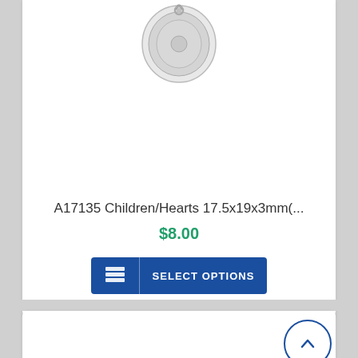[Figure (photo): Silver charm product photo showing a children/hearts charm, partially visible at top of card, with a small blue badge/label in top left corner]
A17135 Children/Hearts 17.5x19x3mm(...
$8.00
[Figure (other): Blue 'SELECT OPTIONS' button with stacked layers icon on the left]
[Figure (other): Scroll-to-top circular button with upward arrow, positioned at right side between two product cards]